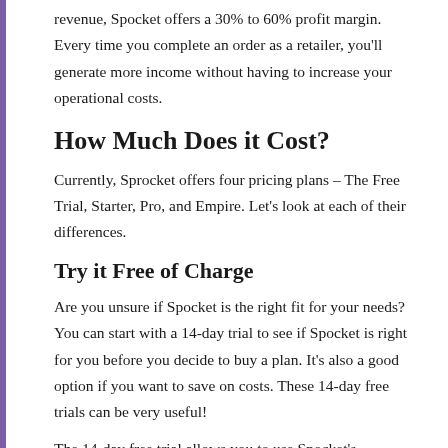revenue, Spocket offers a 30% to 60% profit margin. Every time you complete an order as a retailer, you'll generate more income without having to increase your operational costs.
How Much Does it Cost?
Currently, Sprocket offers four pricing plans – The Free Trial, Starter, Pro, and Empire. Let's look at each of their differences.
Try it Free of Charge
Are you unsure if Spocket is the right fit for your needs? You can start with a 14-day trial to see if Spocket is right for you before you decide to buy a plan. It's also a good option if you want to save on costs. These 14-day free trials can be very useful!
The 14-day free trial allows you to use Spocket's standard, pro, or enterprise features. Spocket offers 24/7 chat support and AliExpress